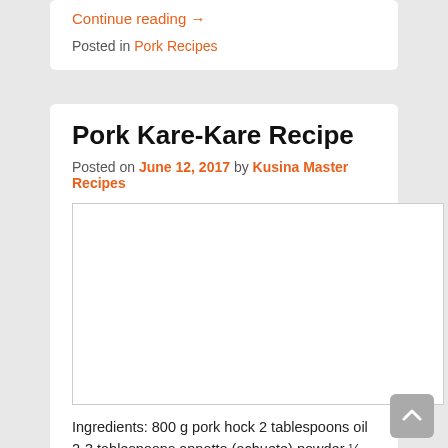Continue reading →
Posted in Pork Recipes
Pork Kare-Kare Recipe
Posted on June 12, 2017 by Kusina Master Recipes
[Figure (photo): Image placeholder for Pork Kare-Kare Recipe]
Ingredients: 800 g pork hock 2 tablespoons oil 2-3 tablespoons annatto (achuete) powder ¼ cup peanuts (roasted or raw), ground 1 large red onion, chopped 4 cloves